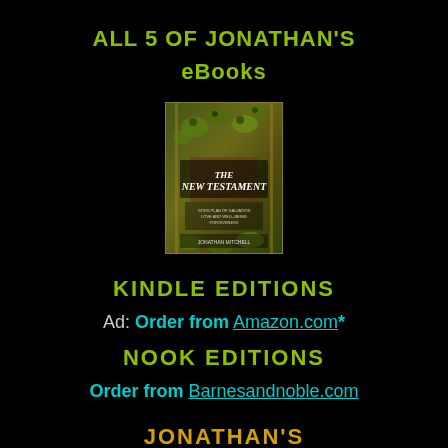ALL 5 OF JONATHAN'S
eBooks
[Figure (illustration): Book cover of 'The New Testament' by Jonathan Mitchell, showing ornate green and gold decorative imagery with text overlay]
KINDLE EDITIONS
Ad: Order from Amazon.com*
NOOK EDITIONS
Order from Barnesandnoble.com
JONATHAN'S
BIBLE